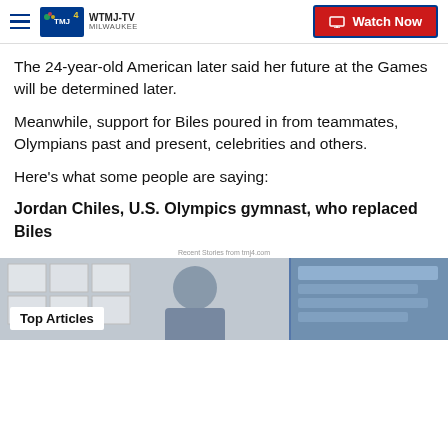WTMJ-TV MILWAUKEE | Watch Now
The 24-year-old American later said her future at the Games will be determined later.
Meanwhile, support for Biles poured in from teammates, Olympians past and present, celebrities and others.
Here’s what some people are saying:
Jordan Chiles, U.S. Olympics gymnast, who replaced Biles
Recent Stories from tmj4.com
[Figure (photo): News studio photo with Top Articles overlay badge at bottom left]